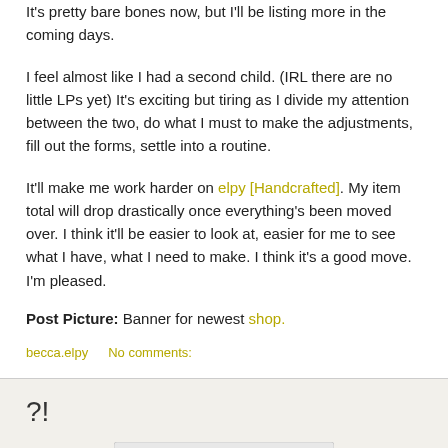It's pretty bare bones now, but I'll be listing more in the coming days.
I feel almost like I had a second child. (IRL there are no little LPs yet) It's exciting but tiring as I divide my attention between the two, do what I must to make the adjustments, fill out the forms, settle into a routine.
It'll make me work harder on elpy [Handcrafted]. My item total will drop drastically once everything's been moved over. I think it'll be easier to look at, easier for me to see what I have, what I need to make. I think it's a good move. I'm pleased.
Post Picture: Banner for newest shop.
becca.elpy    No comments:
?!
[Figure (screenshot): A small image upload/file dialog box partially visible at the bottom of the page]